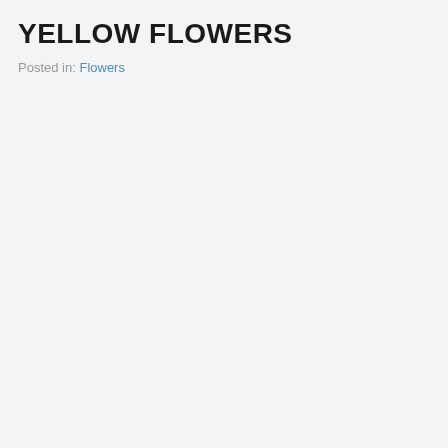YELLOW FLOWERS
Posted in: Flowers